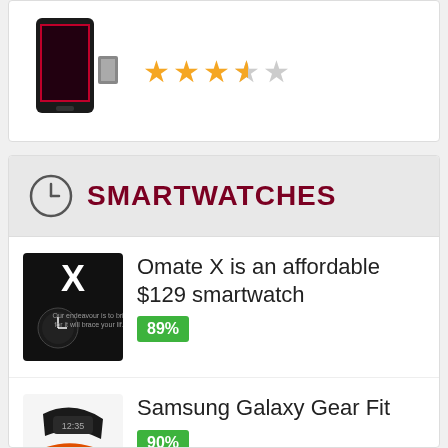[Figure (photo): Smartphone product image with star rating showing 3.5 out of 5 stars]
SMARTWATCHES
Omate X is an affordable $129 smartwatch 89%
Samsung Galaxy Gear Fit 90%
Huawei TalkBand B1